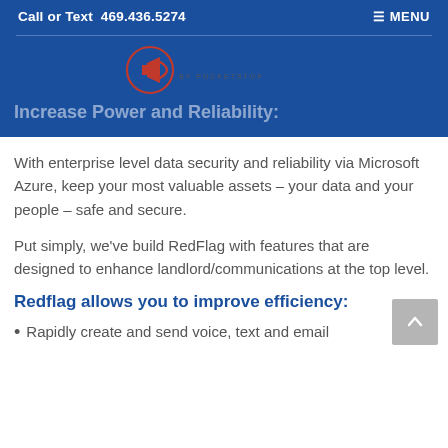Call or Text  469.436.5274
≡ MENU
[Figure (logo): RedFlag by PocketStop logo — a megaphone icon in a red circle next to the REDFLAG wordmark]
Increase Power and Reliability:
With enterprise level data security and reliability via Microsoft Azure, keep your most valuable assets – your data and your people – safe and secure.
Put simply, we've build RedFlag with features that are designed to enhance landlord/communications at the top level.
Redflag allows you to improve efficiency:
Rapidly create and send voice, text and email